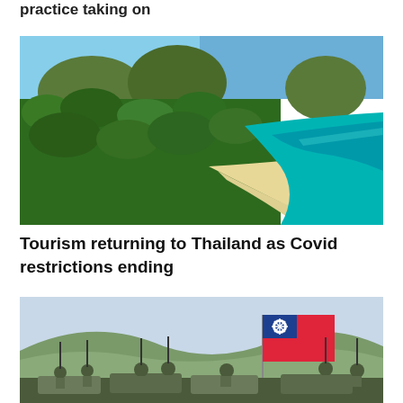practice taking on
[Figure (photo): Aerial view of a tropical beach in Thailand with lush green jungle, a curved sandy beach, and turquoise ocean water with green hills in the background]
Tourism returning to Thailand as Covid restrictions ending
[Figure (photo): Soldiers on military vehicles waving and holding a Taiwan (Republic of China) flag with mountains in the background]